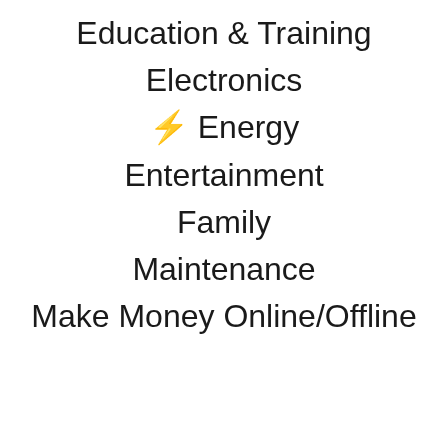Education & Training
Electronics
⚡ Energy
Entertainment
Family
Maintenance
Make Money Online/Offline